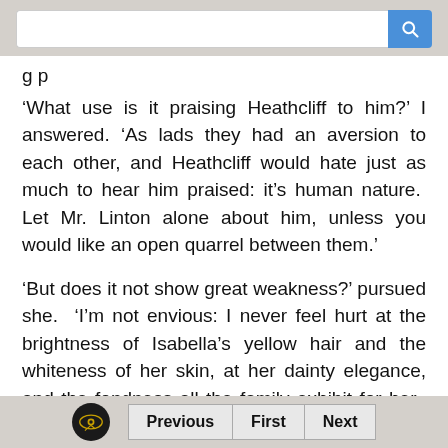[search bar]
g p
‘What use is it praising Heathcliff to him?’ I answered. ‘As lads they had an aversion to each other, and Heathcliff would hate just as much to hear him praised: it’s human nature. Let Mr. Linton alone about him, unless you would like an open quarrel between them.’
‘But does it not show great weakness?’ pursued she. ‘I’m not envious: I never feel hurt at the brightness of Isabella’s yellow hair and the whiteness of her skin, at her dainty elegance, and the fondness all the family exhibit for her. Even
Previous  First  Next